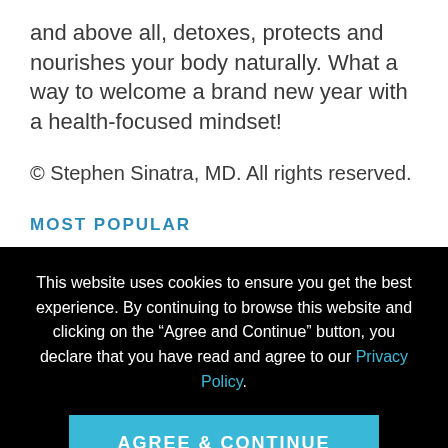and above all, detoxes, protects and nourishes your body naturally. What a way to welcome a brand new year with a health-focused mindset!
© Stephen Sinatra, MD. All rights reserved.
MOST POPULAR
This website uses cookies to ensure you get the best experience. By continuing to browse this website and clicking on the “Agree and Continue” button, you declare that you have read and agree to our Privacy Policy.
AGREE & CONTINUE